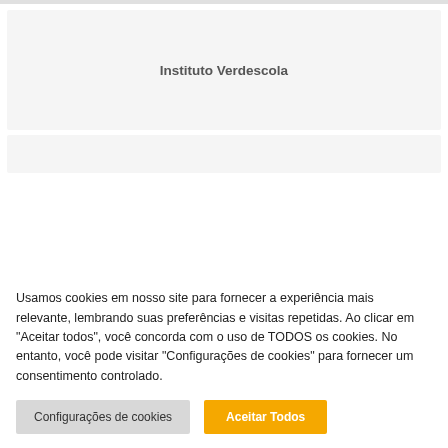[Figure (other): Light gray rectangular card placeholder area]
Instituto Verdescola
[Figure (other): Light gray rectangular card placeholder area (lower, partially visible)]
Usamos cookies em nosso site para fornecer a experiência mais relevante, lembrando suas preferências e visitas repetidas. Ao clicar em "Aceitar todos", você concorda com o uso de TODOS os cookies. No entanto, você pode visitar "Configurações de cookies" para fornecer um consentimento controlado.
Configurações de cookies
Aceitar Todos